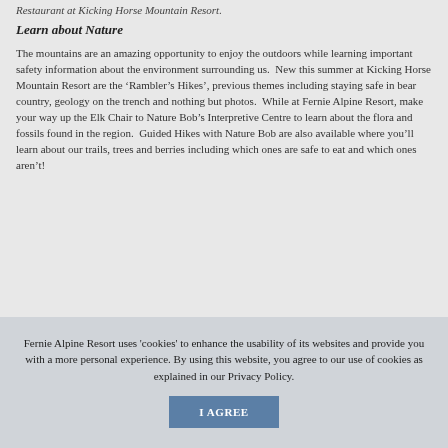Restaurant at Kicking Horse Mountain Resort.
Learn about Nature
The mountains are an amazing opportunity to enjoy the outdoors while learning important safety information about the environment surrounding us.  New this summer at Kicking Horse Mountain Resort are the 'Rambler's Hikes', previous themes including staying safe in bear country, geology on the trench and nothing but photos.  While at Fernie Alpine Resort, make your way up the Elk Chair to Nature Bob's Interpretive Centre to learn about the flora and fossils found in the region.  Guided Hikes with Nature Bob are also available where you'll learn about our trails, trees and berries including which ones are safe to eat and which ones aren't!
Fernie Alpine Resort uses 'cookies' to enhance the usability of its websites and provide you with a more personal experience. By using this website, you agree to our use of cookies as explained in our Privacy Policy.
I AGREE